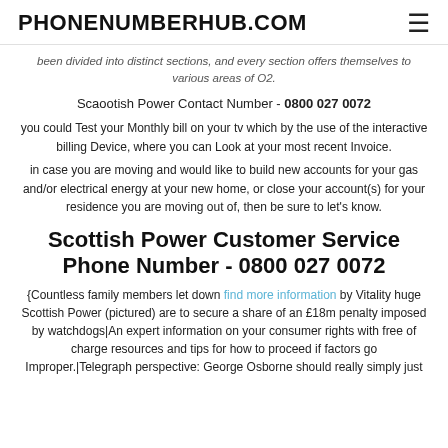PHONENUMBERHUB.COM
been divided into distinct sections, and every section offers themselves to various areas of O2.
Scaootish Power Contact Number - 0800 027 0072
you could Test your Monthly bill on your tv which by the use of the interactive billing Device, where you can Look at your most recent Invoice.
in case you are moving and would like to build new accounts for your gas and/or electrical energy at your new home, or close your account(s) for your residence you are moving out of, then be sure to let's know.
Scottish Power Customer Service Phone Number - 0800 027 0072
{Countless family members let down find more information by Vitality huge Scottish Power (pictured) are to secure a share of an £18m penalty imposed by watchdogs|An expert information on your consumer rights with free of charge resources and tips for how to proceed if factors go Improper.|Telegraph perspective: George Osborne should really simply just